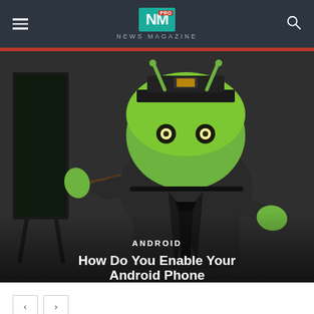NM PRO NEWS MAGAZINE
[Figure (illustration): Android robot mascot dressed as a teacher in a suit and tie, holding a pointer stick next to a blackboard, illustrated in dark background]
ANDROID
How Do You Enable Your Android Phone